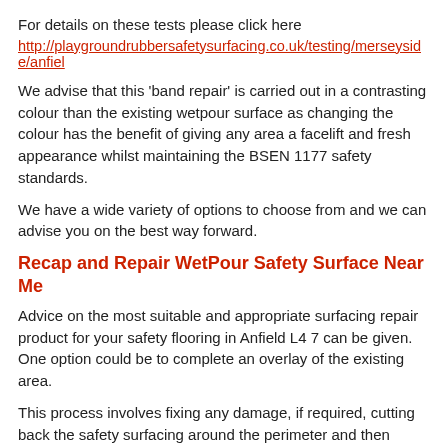For details on these tests please click here
http://playgroundrubbersafetysurfacing.co.uk/testing/merseyside/anfield
We advise that this 'band repair' is carried out in a contrasting colour than the existing wetpour surface as changing the colour has the benefit of giving any area a facelift and fresh appearance whilst maintaining the BSEN 1177 safety standards.
We have a wide variety of options to choose from and we can advise you on the best way forward.
Recap and Repair WetPour Safety Surface Near Me
Advice on the most suitable and appropriate surfacing repair product for your safety flooring in Anfield L4 7 can be given. One option could be to complete an overlay of the existing area.
This process involves fixing any damage, if required, cutting back the safety surfacing around the perimeter and then applying a new wearing course. It's a bit like icing a cake, and it will totally transform the look of your area. You can choose from a range of colours and designs for your wet pour surface.